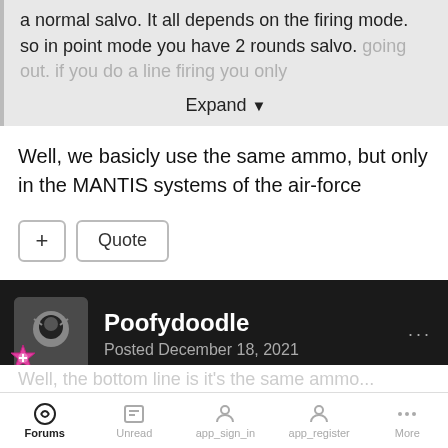a normal salvo. It all depends on the firing mode. so in point mode you have 2 rounds salvo. going out. if you do a line firing you only
Expand
Well, we basicly use the same ammo, but only in the MANTIS systems of the air-force
+ Quote
Poofydoodle
Posted December 18, 2021
On 12/18/2021 at 1:09 AM, Gibsonm said:
Forums  Unread  app_sign_in  app_register  More